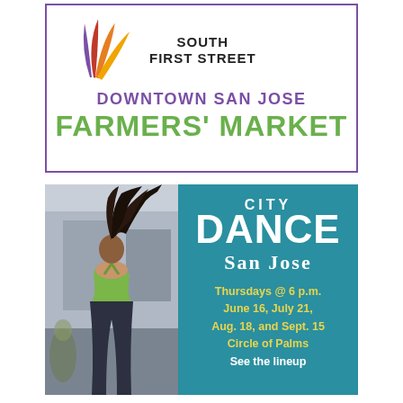[Figure (logo): South First Street Downtown San Jose Farmers' Market logo with colorful leaf/flame shapes and purple border]
[Figure (photo): Photo of a dancer with hair flying up, wearing green top, next to teal City Dance San Jose advertisement panel with event schedule]